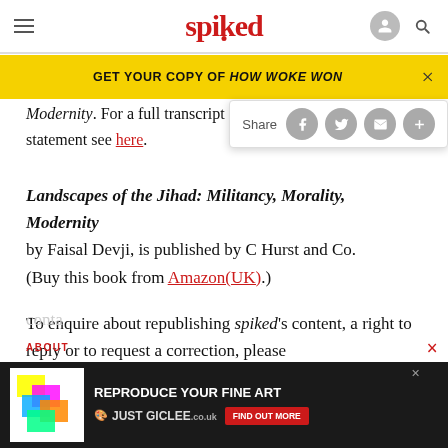spiked
GET YOUR COPY OF HOW WOKE WON
Modernity. For a full transcript of statement see here.
Landscapes of the Jihad: Militancy, Morality, Modernity by Faisal Devji, is published by C Hurst and Co. (Buy this book from Amazon(UK).)
To enquire about republishing spiked's content, a right to reply or to request a correction, please contact the managing editor, Viv Regan.
ABOUT
[Figure (screenshot): Advertisement banner for REPRODUCE YOUR FINE ART JUST GICLEE with FIND OUT MORE button]